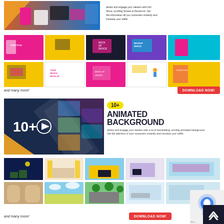[Figure (screenshot): Hero image strip showing colorful mockup device illustrations with hands and phones on vibrant backgrounds]
attract and engage your viewers with rich Show, scrolling Screen & Device kit. Get the information all you customers instantly and increase your traffic
[Figure (screenshot): Grid of 10 thumbnail mockup device template images in colorful pop-art style]
and many more!
[Figure (other): DOWNLOAD NOW! button in red]
[Figure (screenshot): Main hero image for Animated Background section showing 10+ with play button on dark navy background with diagonal photo strips of interior scenes]
10+
ANIMATED BACKGROUND
Attract and engage your viewers with a lot of trendsetting, exciting animated background. Get the attention of your customers instantly and increase your traffic.
[Figure (screenshot): Grid of 10 animated background thumbnail scenes including night sky, interior rooms, city street, beach, office]
and many more!
[Figure (other): DOWNLOAD NOW! button in red]